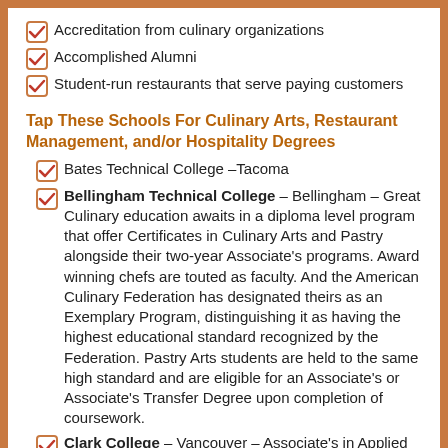Accreditation from culinary organizations
Accomplished Alumni
Student-run restaurants that serve paying customers
Tap These Schools For Culinary Arts, Restaurant Management, and/or Hospitality Degrees
Bates Technical College –Tacoma
Bellingham Technical College – Bellingham – Great Culinary education awaits in a diploma level program that offer Certificates in Culinary Arts and Pastry alongside their two-year Associate's programs.  Award winning chefs are touted as faculty. And the American Culinary Federation has designated theirs as an Exemplary Program, distinguishing it as having the highest educational standard recognized by the Federation. Pastry Arts students are held to the same high standard and are eligible for an Associate's or Associate's Transfer Degree upon completion of coursework.
Clark College – Vancouver – Associate's in Applied Science degrees are offered in two disciplines called Cooking/Food Management and Professional Baking. First year students are indoctrinated into the craft through